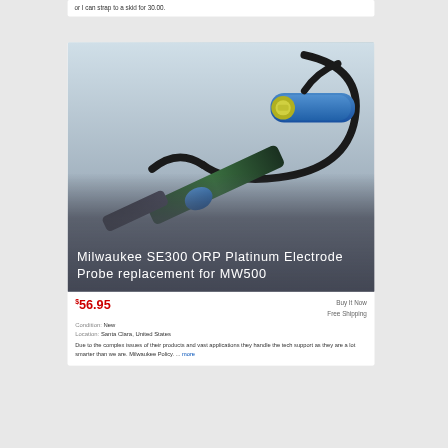or I can strap to a skid for 30.00.
[Figure (photo): Milwaukee SE300 ORP Platinum Electrode Probe replacement for MW500 — a scientific probe/electrode with blue connectors and black cable, with product title overlaid on a dark gradient at the bottom of the image.]
$56.95
Buy It Now
Free Shipping
Condition: New
Location: Santa Clara, United States
Due to the complex issues of their products and vast applications they handle the tech support as they are a lot smarter than we are. Milwaukee Policy. ... more